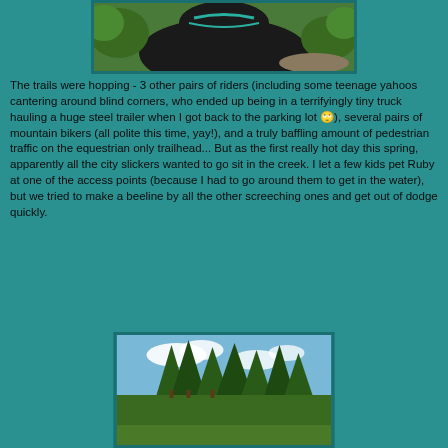[Figure (photo): Close-up of a dark horse with teal/turquoise bridle, outdoors with green foliage in background]
The trails were hopping - 3 other pairs of riders (including some teenage yahoos cantering around blind corners, who ended up being in a terrifyingly tiny truck hauling a huge steel trailer when I got back to the parking lot 🙄), several pairs of mountain bikers (all polite this time, yay!), and a truly baffling amount of pedestrian traffic on the equestrian only trailhead... But as the first really hot day this spring, apparently all the city slickers wanted to go sit in the creek. I let a few kids pet Ruby at one of the access points (because I had to go around them to get in the water), but we tried to make a beeline by all the other screeching ones and get out of dodge quickly.
[Figure (photo): Outdoor trail scene with tall green trees (pine/fir) against a blue sky with white clouds]